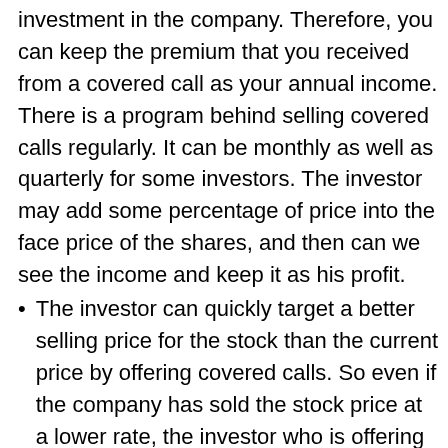investment in the company. Therefore, you can keep the premium that you received from a covered call as your annual income. There is a program behind selling covered calls regularly. It can be monthly as well as quarterly for some investors. The investor may add some percentage of price into the face price of the shares, and then can we see the income and keep it as his profit.
The investor can quickly target a better selling price for the stock than the current price by offering covered calls. So even if the company has sold the stock price at a lower rate, the investor who is offering the covered call can still sell it for a better price in the market.
Some investors also sell covered calls for a particular stock because they want downside